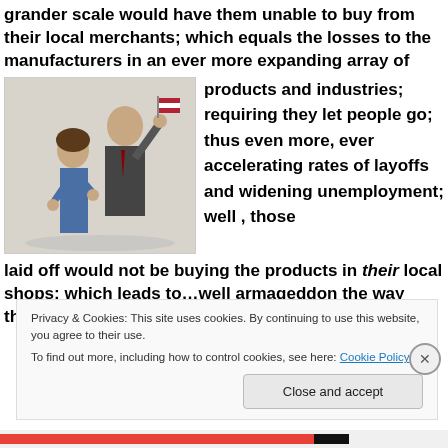grander scale would have them unable to buy from their local merchants; which equals the losses to the manufacturers in an ever more expanding array of products and industries; requiring they let people go; thus even more, ever accelerating rates of layoffs and widening unemployment; well , those laid off would not be buying the products in their local shops; which leads to…well armageddon the way they
[Figure (photo): Two people celebrating — a man in a suit holding an American flag and raising his hand, and a woman next to him also celebrating, both appearing jubilant.]
Privacy & Cookies: This site uses cookies. By continuing to use this website, you agree to their use.
To find out more, including how to control cookies, see here: Cookie Policy